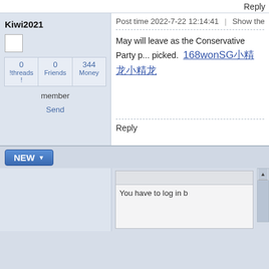Reply
Kiwi2021
Post time 2022-7-22 12:14:41  |  Show the author
May will leave as the Conservative Party p... picked.  168wonSG...
Reply
NEW
You have to log in b...